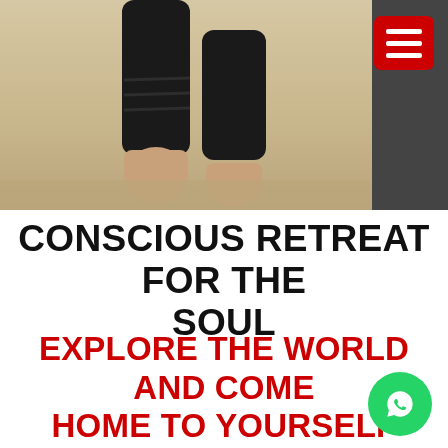[Figure (photo): Hero image showing a person's bare feet and lower legs in black athletic pants walking on sand, with a dark panel on the right side. A red hamburger menu button is in the top-right corner.]
CONSCIOUS RETREAT FOR THE SOUL
EXPLORE THE WORLD AND COME HOME TO YOURSELF